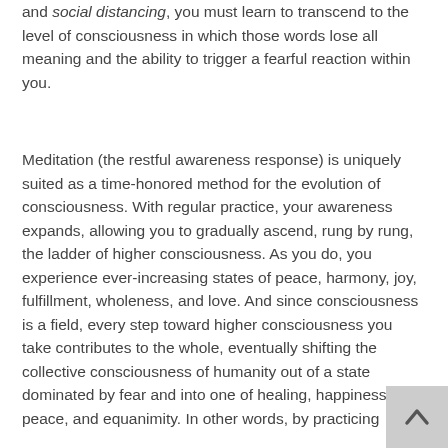and social distancing, you must learn to transcend to the level of consciousness in which those words lose all meaning and the ability to trigger a fearful reaction within you.
Meditation (the restful awareness response) is uniquely suited as a time-honored method for the evolution of consciousness. With regular practice, your awareness expands, allowing you to gradually ascend, rung by rung, the ladder of higher consciousness. As you do, you experience ever-increasing states of peace, harmony, joy, fulfillment, wholeness, and love. And since consciousness is a field, every step toward higher consciousness you take contributes to the whole, eventually shifting the collective consciousness of humanity out of a state dominated by fear and into one of healing, happiness, peace, and equanimity. In other words, by practicing